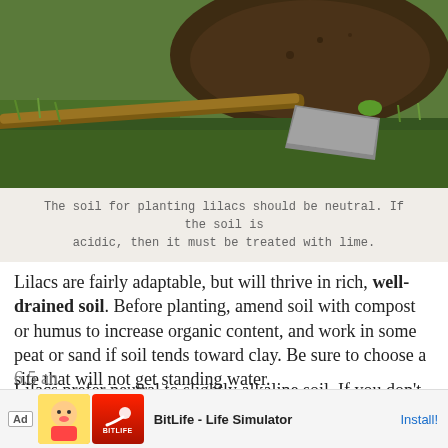[Figure (photo): A shovel lying in grass with a mound of dark soil behind it, used for planting.]
The soil for planting lilacs should be neutral. If the soil is acidic, then it must be treated with lime.
Lilacs are fairly adaptable, but will thrive in rich, well-drained soil. Before planting, amend soil with compost or humus to increase organic content, and work in some peat or sand if soil tends toward clay. Be sure to choose a site that will not get standing water.
Lilacs prefer neutral to slightly alkaline soil. If you don't already know your soil's pH, you may want to have it tested. Shoot for a level somewhere between 6.5 an... incre... fate